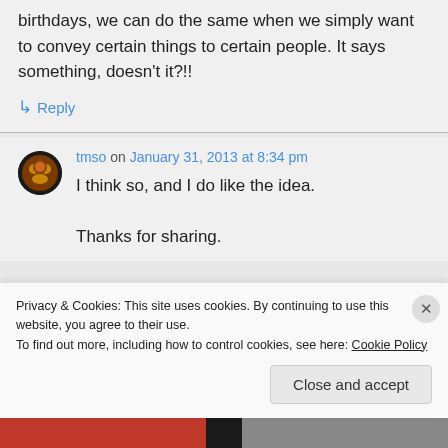birthdays, we can do the same when we simply want to convey certain things to certain people. It says something, doesn't it?!!
↳ Reply
tmso on January 31, 2013 at 8:34 pm
I think so, and I do like the idea. Thanks for sharing.
Privacy & Cookies: This site uses cookies. By continuing to use this website, you agree to their use. To find out more, including how to control cookies, see here: Cookie Policy
Close and accept